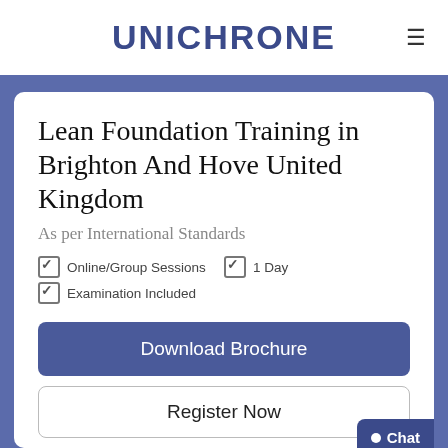UNICHRONE
Lean Foundation Training in Brighton And Hove United Kingdom
As per International Standards
Online/Group Sessions
1 Day
Examination Included
Download Brochure
Register Now